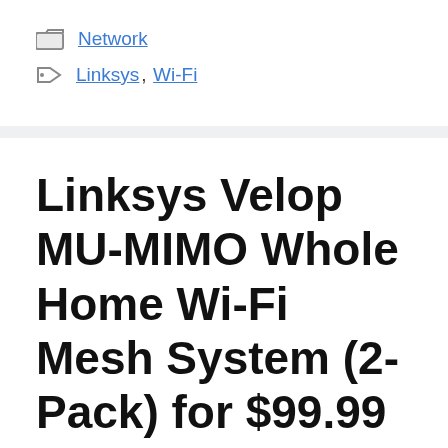Network
Linksys, Wi-Fi
Linksys Velop MU-MIMO Whole Home Wi-Fi Mesh System (2-Pack) for $99.99 Shipped
by DealHunter